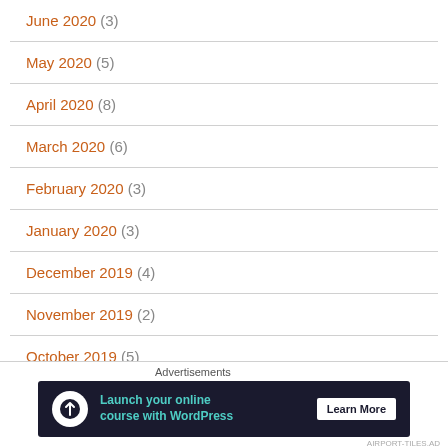June 2020 (3)
May 2020 (5)
April 2020 (8)
March 2020 (6)
February 2020 (3)
January 2020 (3)
December 2019 (4)
November 2019 (2)
October 2019 (5)
September 2019 (4)
Advertisements
[Figure (screenshot): Advertisement banner: Launch your online course with WordPress - Learn More button]